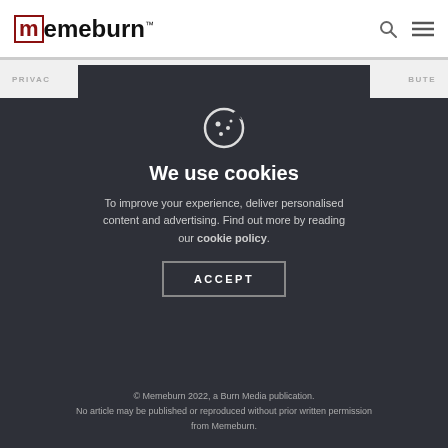memeburn™
PRIVAC... BUTE
[Figure (other): Cookie icon - circular cookie with dots]
We use cookies
To improve your experience, deliver personalised content and advertising. Find out more by reading our cookie policy.
ACCEPT
© Memeburn 2022, a Burn Media publication. No article may be published or reproduced without prior written permission from Memeburn.